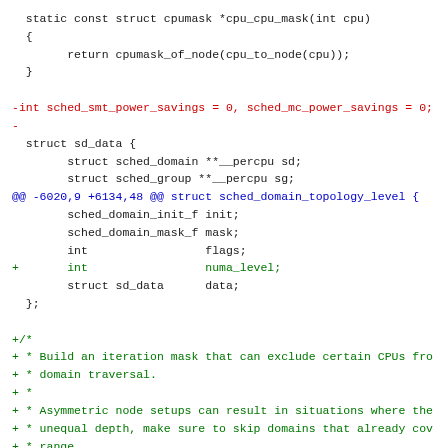[Figure (screenshot): Source code diff showing C struct definitions and diff hunks. Black code shows static function cpu_cpu_mask and struct sd_data. Red lines show removed code (sched_smt_power_savings). Blue lines show diff hunk header. Green lines show added code (numa_level field and comment block about iteration mask).]